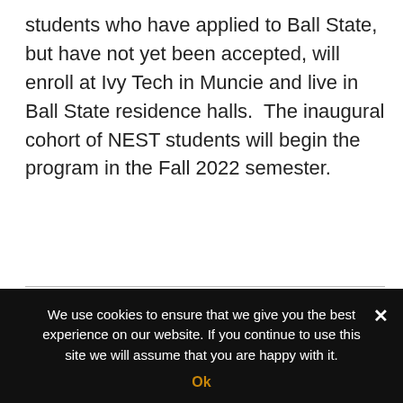students who have applied to Ball State, but have not yet been accepted, will enroll at Ivy Tech in Muncie and live in Ball State residence halls.  The inaugural cohort of NEST students will begin the program in the Fall 2022 semester.
All indications seemed to show an all-time record raised yesterday for the charity lunch raising money for school supplies and backpacks for Delaware county kids.  Tools For School and all associated groups were thankful for Amazing Joes, their staff, sponsors and volunteers for the incredible outpouring of support.
We use cookies to ensure that we give you the best experience on our website. If you continue to use this site we will assume that you are happy with it.